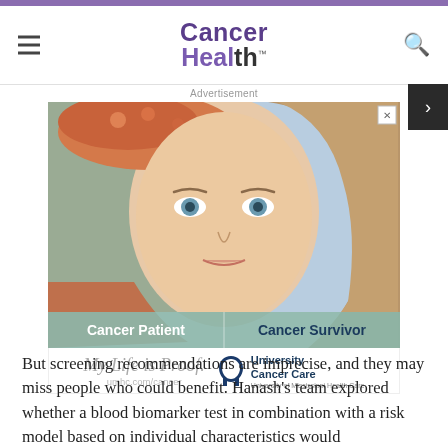Cancer Health
[Figure (photo): Advertisement showing a woman whose left side appears as a cancer patient with headscarf and right side as a cancer survivor with flowing hair. Caption bar reads 'Cancer Patient | Cancer Survivor'. Below: 'My Life is Proof. umhc.com/cancer — University Cancer Care, University of Mississippi Health Care']
But screening recommendations are imprecise, and they may miss people who could benefit. Hanash's team explored whether a blood biomarker test in combination with a risk model based on individual characteristics would to meet the screening for lung cancer.